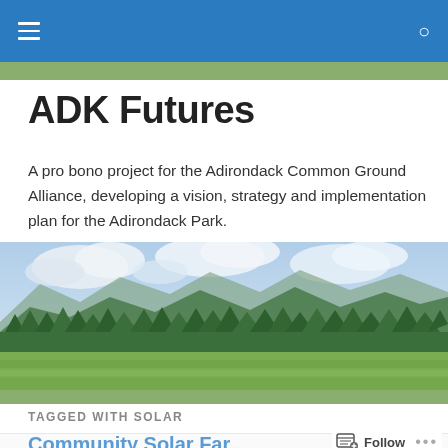ADK Futures – navigation bar with hamburger menu and search icon
ADK Futures
A pro bono project for the Adirondack Common Ground Alliance, developing a vision, strategy and implementation plan for the Adirondack Park.
[Figure (photo): Panoramic landscape photo of the Adirondack Park showing green meadows in the foreground, a forest of trees in the middle ground, and mountains with a cloudy blue sky in the background.]
TAGGED WITH SOLAR
Community Solar Far…